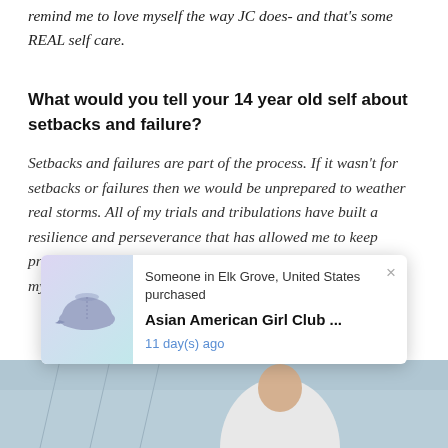remind me to love myself the way JC does- and that's some REAL self care.
What would you tell your 14 year old self about setbacks and failure?
Setbacks and failures are part of the process. If it wasn't for setbacks or failures then we would be unprepared to weather real storms. All of my trials and tribulations have built a resilience and perseverance that has allowed me to keep pressing forward. I know that my strength is made perfect in my weaknesses.
[Figure (screenshot): Purchase notification popup showing a baseball cap image with text: Someone in Elk Grove, United States purchased Asian American Girl Club ... 11 day(s) ago]